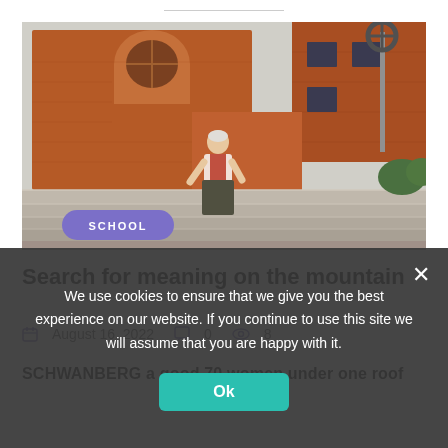[Figure (photo): Exterior photo of a red brick building with wide stone steps. A woman stands on the steps smiling. A metal pole with a circular ornament is visible on the right. A purple oval badge reading SCHOOL is overlaid at the bottom left.]
Search for meaning on the mountain
August 16, 2022   0   8
SCHWANBERG a good 70 women under one roof
We use cookies to ensure that we give you the best experience on our website. If you continue to use this site we will assume that you are happy with it.
Ok